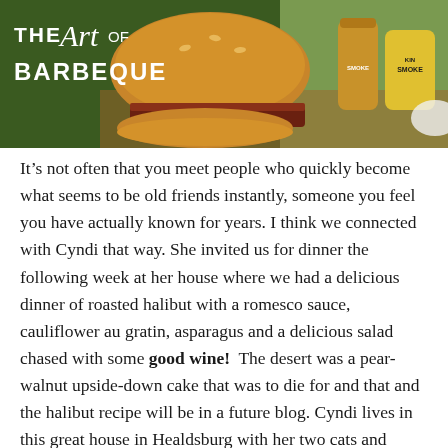[Figure (photo): Banner image for 'The Art of Barbeque' showing a large BBQ sandwich/burger with KinSmoke branded drinks in the background, on a rustic outdoor setting.]
It’s not often that you meet people who quickly become what seems to be old friends instantly, someone you feel you have actually known for years. I think we connected with Cyndi that way. She invited us for dinner the following week at her house where we had a delicious dinner of roasted halibut with a romesco sauce, cauliflower au gratin, asparagus and a delicious salad chased with some good wine!  The desert was a pear-walnut upside-down cake that was to die for and that and the halibut recipe will be in a future blog. Cyndi lives in this great house in Healdsburg with her two cats and among other things, probably over 200 cookbooks. Another foodist. A lot of’ in common. And how she loves cooking...